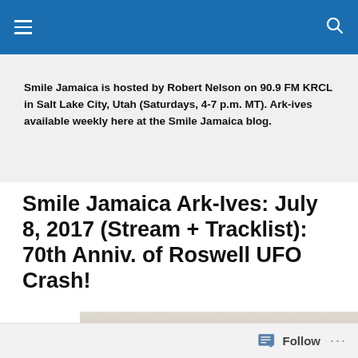Navigation bar with hamburger menu and search icon
Smile Jamaica is hosted by Robert Nelson on 90.9 FM KRCL in Salt Lake City, Utah (Saturdays, 4-7 p.m. MT). Ark-ives available weekly here at the Smile Jamaica blog.
Smile Jamaica Ark-Ives: July 8, 2017 (Stream + Tracklist): 70th Anniv. of Roswell UFO Crash!
[Figure (photo): Partial photo visible at bottom of page]
Follow ...